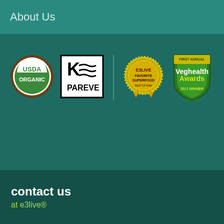About Us
[Figure (logo): USDA Organic circular green and brown logo]
[Figure (logo): Kosher Pareve (K with wave lines and PAREVE text) black and white logo]
[Figure (logo): E3Live Favorite Superfood gold medal award badge - Best of Raw]
[Figure (logo): First Annual VegHealth Awards green shield badge - 2011 Winner]
[Figure (logo): 100% Guaranteed orange circular badge with green ribbon/seal]
contact us
at e3live®